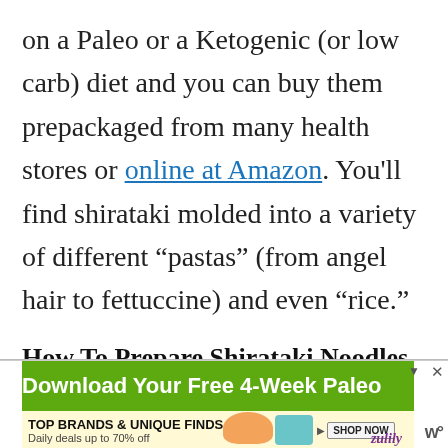on a Paleo or a Ketogenic (or low carb) diet and you can buy them prepackaged from many health stores or online at Amazon. You'll find shirataki molded into a variety of different “pastas” (from angel hair to fettuccine) and even “rice.”
How To Prepare Shirataki Noodles
Shirataki noodles are definitely not difficult to prepare, but they do have a
[Figure (other): Advertisement banner: green background with text 'Download Your Free 4-Week Paleo' and a yellow ad below reading 'TOP BRANDS & UNIQUE FINDS - Daily deals up to 70% off' with shoe and bag images, Shop Now button, zulily logo, and a close button.]